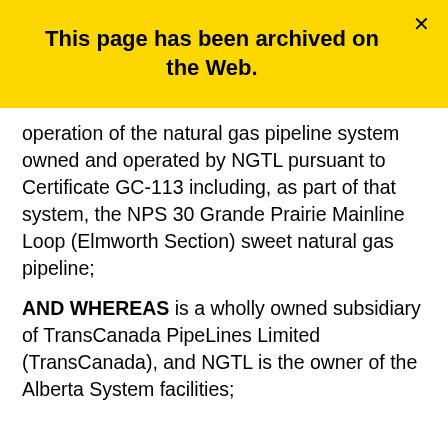This page has been archived on the Web.
operation of the natural gas pipeline system owned and operated by NGTL pursuant to Certificate GC-113 including, as part of that system, the NPS 30 Grande Prairie Mainline Loop (Elmworth Section) sweet natural gas pipeline;
AND WHEREAS is a wholly owned subsidiary of TransCanada PipeLines Limited (TransCanada), and NGTL is the owner of the Alberta System facilities;